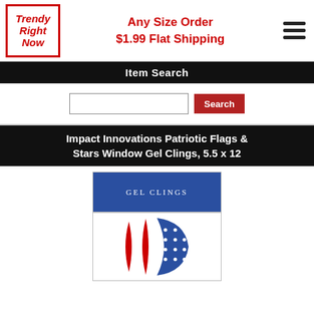[Figure (logo): Trendy Right Now logo in red italic text inside a red border box]
Any Size Order
$1.99 Flat Shipping
[Figure (other): Hamburger menu icon (three horizontal lines)]
Item Search
[Figure (other): Search input box and Search button]
Impact Innovations Patriotic Flags & Stars Window Gel Clings, 5.5 x 12
[Figure (photo): Product image showing gel clings packaging with blue banner reading GEL CLINGS and an image of patriotic flag gel clings with red stripes and blue star field]